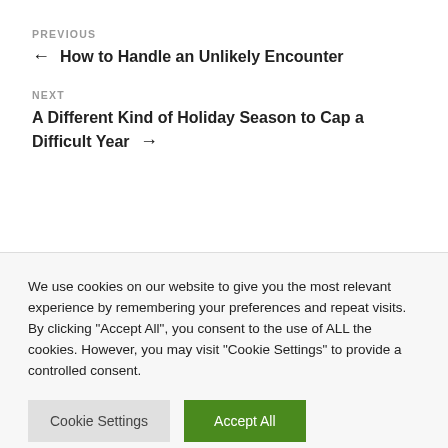PREVIOUS
← How to Handle an Unlikely Encounter
NEXT
A Different Kind of Holiday Season to Cap a Difficult Year →
We use cookies on our website to give you the most relevant experience by remembering your preferences and repeat visits. By clicking "Accept All", you consent to the use of ALL the cookies. However, you may visit "Cookie Settings" to provide a controlled consent.
Cookie Settings
Accept All